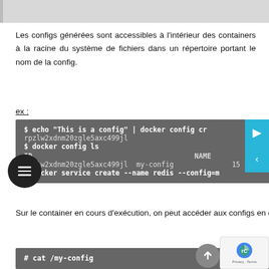[Figure (screenshot): Top header bar / image placeholder with grey background]
Les configs générées sont accessibles à l'intérieur des containers à la racine du système de fichiers dans un répertoire portant le nom de la config.
ex :
[Figure (screenshot): Dark grey code block showing: $ echo "This is a config" | docker config cr[eate my-config -], rpzlw2xdnm20zgle5axc499jl, $ docker config ls, ID NAME CREATED, rpzlw2xdnm20zgle5axc499jl my-config 15 seconds, $ docker service create --name redis --config=m[y-config redis]]
Sur le container en cours d'exécution, on peut accéder aux configs en clair :
[Figure (screenshot): Dark grey code block showing: # cat /my-config]